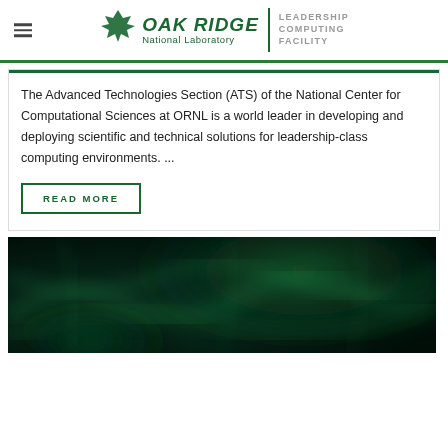Oak Ridge National Laboratory | Leadership Computing Facility
The Advanced Technologies Section (ATS) of the National Center for Computational Sciences at ORNL is a world leader in developing and deploying scientific and technical solutions for leadership-class computing environments. ...
READ MORE
[Figure (photo): Dark green abstract blurred background photo, possibly fiber optic or natural imagery with green and teal tones]